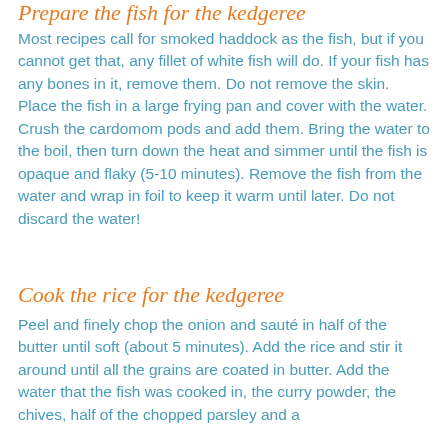Prepare the fish for the kedgeree
Most recipes call for smoked haddock as the fish, but if you cannot get that, any fillet of white fish will do. If your fish has any bones in it, remove them. Do not remove the skin. Place the fish in a large frying pan and cover with the water. Crush the cardomom pods and add them. Bring the water to the boil, then turn down the heat and simmer until the fish is opaque and flaky (5-10 minutes). Remove the fish from the water and wrap in foil to keep it warm until later. Do not discard the water!
Cook the rice for the kedgeree
Peel and finely chop the onion and sauté in half of the butter until soft (about 5 minutes). Add the rice and stir it around until all the grains are coated in butter. Add the water that the fish was cooked in, the curry powder, the chives, half of the chopped parsley and a